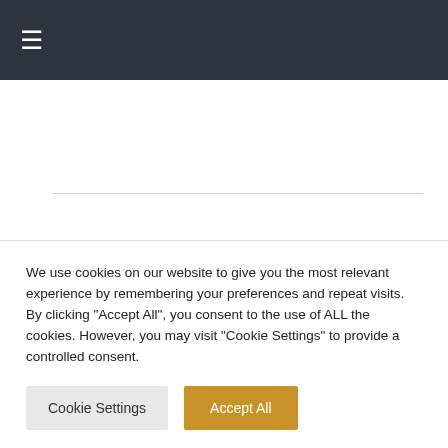☰
About Canny Costumes
Privacy Policy
Terms of Use
We use cookies on our website to give you the most relevant experience by remembering your preferences and repeat visits. By clicking "Accept All", you consent to the use of ALL the cookies. However, you may visit "Cookie Settings" to provide a controlled consent.
Cookie Settings | Accept All